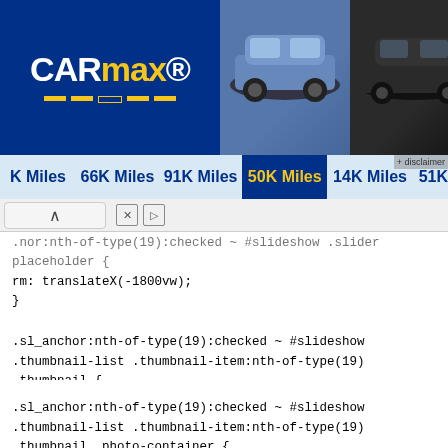[Figure (screenshot): CarMax website banner with logo and car thumbnails showing mileage. Cars displayed: K Miles, 66K Miles, 91K Miles, 50K Miles, 14K Miles, 51K Miles.]
.nor:nth-of-type(19):checked ~ #slideshow .slider placeholder {
rm: translateX(-1800vw);
}
}
.sl_anchor:nth-of-type(19):checked ~ #slideshow .thumbnail-list .thumbnail-item:nth-of-type(19) .thumbnail {
border: 1px solid #006efc;
}
.sl_anchor:nth-of-type(19):checked ~ #slideshow .thumbnail-list .thumbnail-item:nth-of-type(19) .thumbnail .photo-container {
margin-top: 7px;
}
.sl_anchor:nth-of-type(19):checked ~ #slideshow .thumbnail-list.auto-scroll .thumbnail-list-wrapper {
margin-left:
-1160px
;
}
.sl_anchor:nth-of-type(19):checked ~ #slideshow .slide-status .current